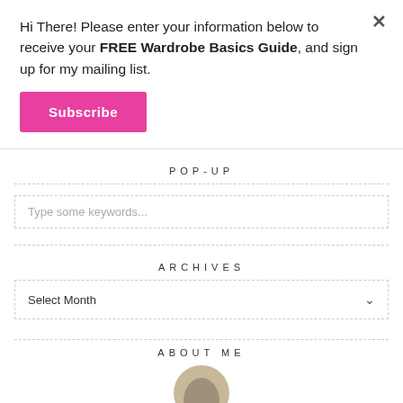Hi There! Please enter your information below to receive your FREE Wardrobe Basics Guide, and sign up for my mailing list.
Subscribe
POP-UP
Type some keywords...
ARCHIVES
Select Month
ABOUT ME
[Figure (photo): Partial circular photo of a person, cropped at bottom of page]